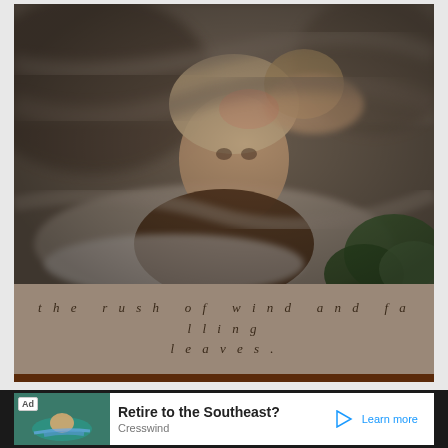[Figure (photo): A young blonde woman wearing a brown turtleneck sweater, photographed through blurred foliage and branches with a bokeh effect. Green pine branches visible in lower right corner.]
the rush of wind and falling leaves.
[Figure (screenshot): Advertisement banner: 'Retire to the Southeast? Cresswind Learn more' with an image of a man kayaking on a river.]